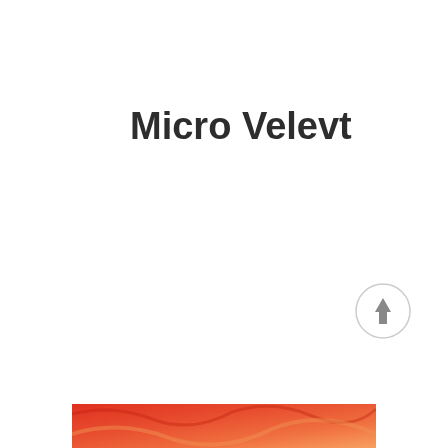Micro Velevt
[Figure (illustration): A circular scroll-to-top button with a grey border and upward pointing arrow icon, positioned in the lower right area of the page.]
[Figure (photo): A partial image visible at the bottom of the page showing warm red and orange tones, appears to be a cropped photograph.]